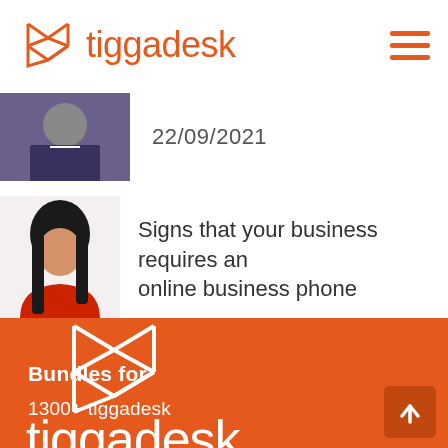[Figure (logo): Tiggadesk orange logo with geometric bow-tie icon and text 'tiggadesk' in orange on white background]
[Figure (photo): Small thumbnail photo of a person in dark clothing]
22/09/2021
[Figure (photo): Thumbnail photo of a young woman holding a phone]
Signs that your business requires an online business phone
[Figure (logo): Large Tiggadesk white logo on orange background - geometric icon above 'tiggadesk' wordmark]
Bundles for
1300+ tiggadesk